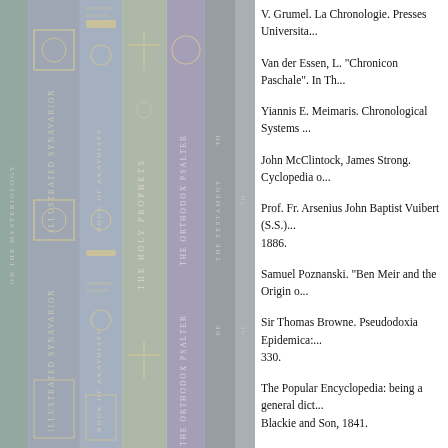[Figure (photo): Photograph of book spines arranged side by side, showing religious and reference books including 'Illustrated Synaxarion', 'Book of Akathists', 'The Holy Prophets', 'The Orthodox Psalter', 'The Testament', and others. The image has a muted grey-blue tone.]
V. Grumel. La Chronologie. Presses Universita...
Van der Essen, L. "Chronicon Paschale". In Th...
Yiannis E. Meimaris. Chronological Systems ...
John McClintock, James Strong. Cyclopedia o...
Prof. Fr. Arsenius John Baptist Vuibert (S.S.)... 1886.
Samuel Poznanski. "Ben Meir and the Origin o...
Sir Thomas Browne. Pseudodoxia Epidemica:... 330.
The Popular Encyclopedia: being a general dict... Blackie and Son, 1841.
Thomas Spencer Baynes. "Chronology: Era of... literature. 9th Ed. Vol. 5. A. & C. Black, 182...